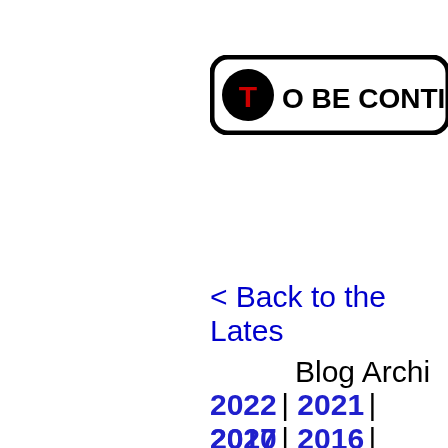[Figure (logo): Rounded rectangle banner with a black circle containing a red T letter, followed by text 'TO BE CONTI...' in bold black font, partially cropped on the right]
< Back to the Lates...
Blog Archi...
2022 | 2021 | 2020 ...
2017 | 2016 | 2015 ...
2012 | 2011 | 2010 ...